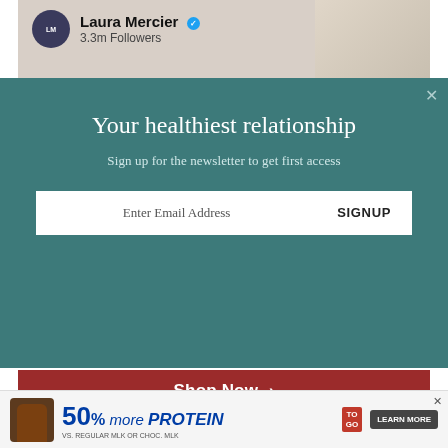[Figure (screenshot): Laura Mercier social media ad banner with avatar, name, 3.3m Followers, and grain/powder image on right]
[Figure (screenshot): Teal newsletter popup overlay with title 'Your healthiest relationship', subtitle 'Sign up for the newsletter to get first access', email input field and SIGNUP button]
[Figure (screenshot): Dark red 'Shop Now >' button bar]
“I generally only recommend minimalist shoes for those hiking or running on the trails, as the terrain calls for a mobile ankle and the ability to ‘feel’ the
[Figure (screenshot): Bottom advertisement banner: '50% more PROTEIN' with milk bottle image, LEARN MORE button, TO GO tag, and close X button]